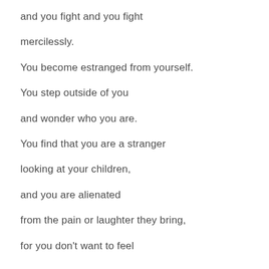and you fight and you fight
mercilessly.
You become estranged from yourself.
You step outside of you
and wonder who you are.
You find that you are a stranger
looking at your children,
and you are alienated
from the pain or laughter they bring,
for you don't want to feel